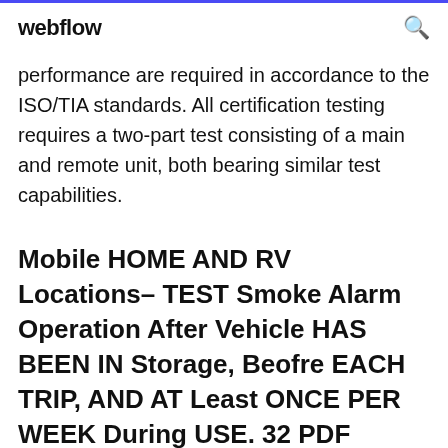webflow
performance are required in accordance to the ISO/TIA standards. All certification testing requires a two-part test consisting of a main and remote unit, both bearing similar test capabilities.
Mobile HOME AND RV Locations– TEST Smoke Alarm Operation After Vehicle HAS BEEN IN Storage, Beofre EACH TRIP, AND AT Least ONCE PER WEEK During USE. 32 PDF